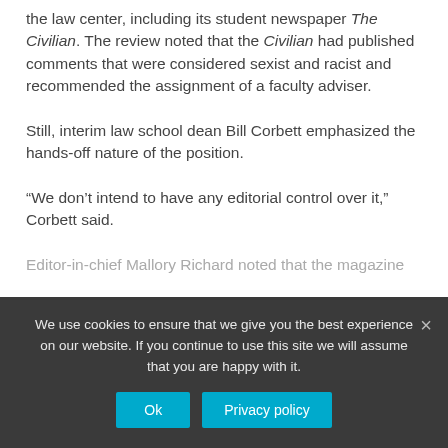the law center, including its student newspaper The Civilian. The review noted that the Civilian had published comments that were considered sexist and racist and recommended the assignment of a faculty adviser.
Still, interim law school dean Bill Corbett emphasized the hands-off nature of the position.
“We don’t intend to have any editorial control over it,” Corbett said.
Editor-in-chief Mallory Richard noted that the magazine
We use cookies to ensure that we give you the best experience on our website. If you continue to use this site we will assume that you are happy with it.